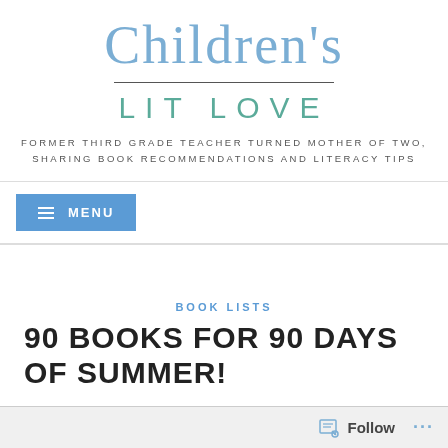Children's
LIT LOVE
FORMER THIRD GRADE TEACHER TURNED MOTHER OF TWO, SHARING BOOK RECOMMENDATIONS AND LITERACY TIPS
≡ MENU
BOOK LISTS
90 BOOKS FOR 90 DAYS OF SUMMER!
Follow ...